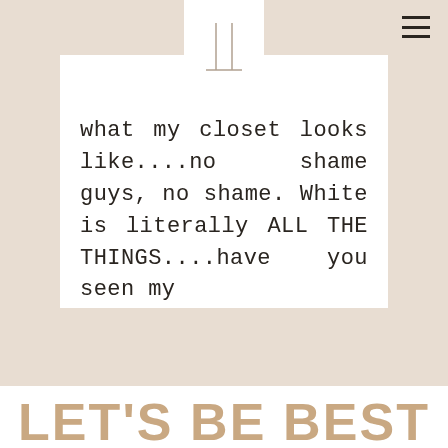[Figure (logo): Minimalist logo with two vertical lines and a horizontal base line forming a stylized 'IL' or bracket shape]
what my closet looks like....no shame guys, no shame. White is literally ALL THE THINGS....have you seen my
LET'S BE BEST